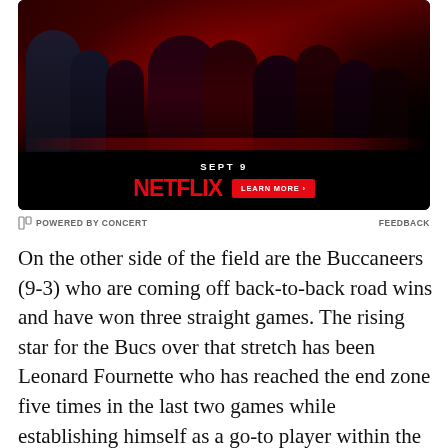[Figure (photo): Netflix advertisement banner showing cast of a show with dark red dramatic lighting, 'SEPT 9' text, Netflix logo in red, and 'LEARN MORE >' button]
POWERED BY CONCERT   FEEDBACK
On the other side of the field are the Buccaneers (9-3) who are coming off back-to-back road wins and have won three straight games. The rising star for the Bucs over that stretch has been Leonard Fournette who has reached the end zone five times in the last two games while establishing himself as a go-to player within the offense whether it's a run or a pass.